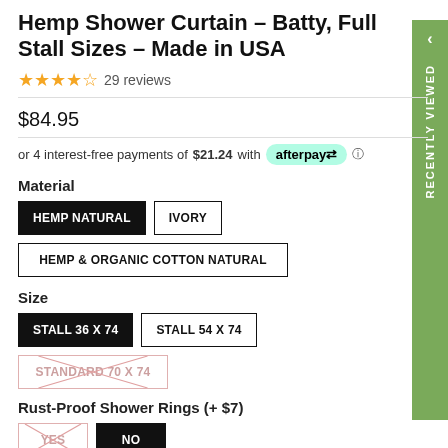Hemp Shower Curtain – Batty, Full Stall Sizes – Made in USA
★★★★☆ 29 reviews
$84.95
or 4 interest-free payments of $21.24 with afterpay ⓘ
Material
HEMP NATURAL (selected)
IVORY
HEMP & ORGANIC COTTON NATURAL
Size
STALL 36 X 74 (selected)
STALL 54 X 74
STANDARD 70 X 74 (out of stock)
Rust-Proof Shower Rings (+ $7)
YES (out of stock)
NO (selected)